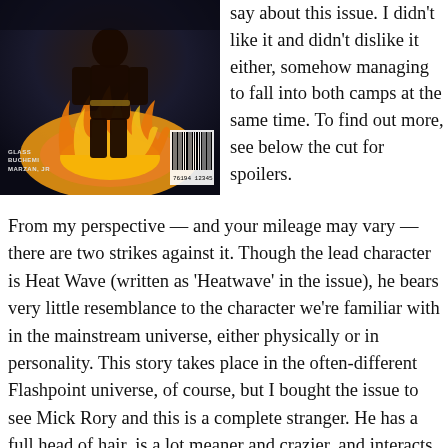[Figure (illustration): Comic book cover showing a figure in dark costume surrounded by fire and flames, with credits for GLASS, BUCHEMI, MARZAN JR and a barcode in the lower right corner.]
say about this issue. I didn't like it and didn't dislike it either, somehow managing to fall into both camps at the same time. To find out more, see below the cut for spoilers.
From my perspective — and your mileage may vary — there are two strikes against it. Though the lead character is Heat Wave (written as 'Heatwave' in the issue), he bears very little resemblance to the character we're familiar with in the mainstream universe, either physically or in personality. This story takes place in the often-different Flashpoint universe, of course, but I bought the issue to see Mick Rory and this is a complete stranger. He has a full head of hair, is a lot meaner and crazier, and interacts with an entirely different set of associates. He's nothing like the Mick we know apart from an